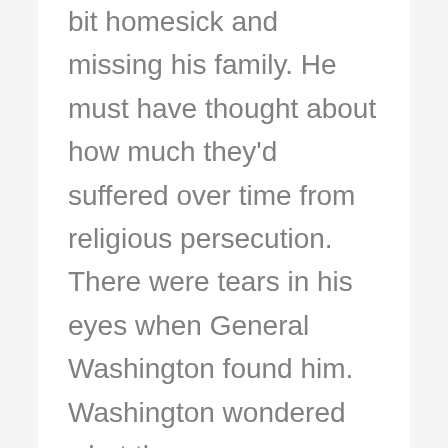bit homesick and missing his family. He must have thought about how much they'd suffered over time from religious persecution. There were tears in his eyes when General Washington found him. Washington wondered what the young man was doing and why he was crying. The soldier told his general the story of Maccabee and the other Jews. It is said that